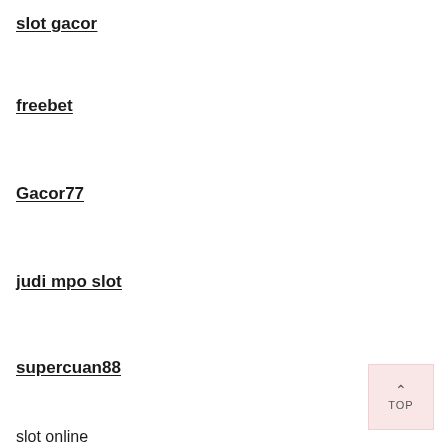slot gacor
freebet
Gacor77
judi mpo slot
supercuan88
slot online